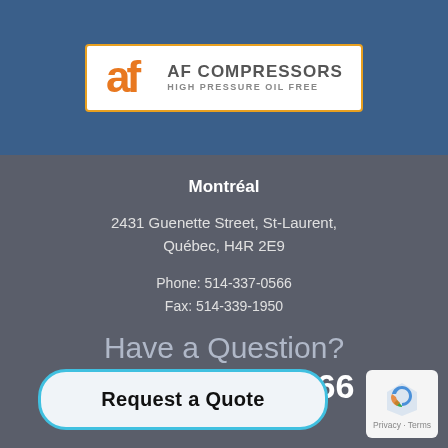[Figure (logo): AF Compressors logo — orange stylized 'af' letters with text 'AF COMPRESSORS / HIGH PRESSURE OIL FREE' in a white box with orange border]
Montréal
2431 Guenette Street, St-Laurent,
Québec, H4R 2E9
Phone: 514-337-0566
Fax: 514-339-1950
Have a Question?
1 (514) 337-0566
Request a Quote
[Figure (logo): reCAPTCHA logo with 'Privacy - Terms' text]